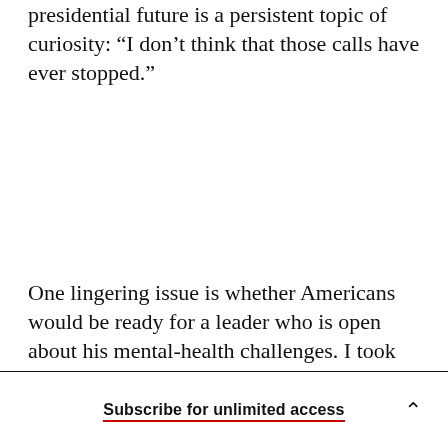presidential future is a persistent topic of curiosity: “I don’t think that those calls have ever stopped.”
One lingering issue is whether Americans would be ready for a leader who is open about his mental-health challenges. I took this question to the CNN
Subscribe for unlimited access